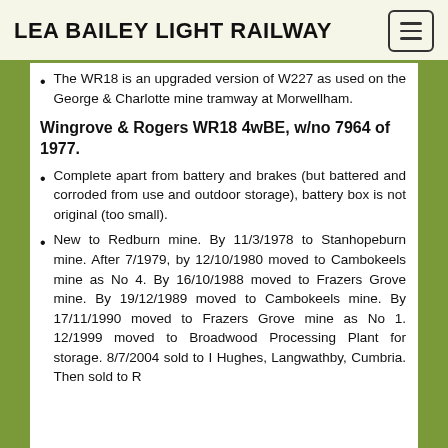LEA BAILEY LIGHT RAILWAY
The WR18 is an upgraded version of W227 as used on the George & Charlotte mine tramway at Morwellham.
Wingrove & Rogers WR18 4wBE, w/no 7964 of 1977.
Complete apart from battery and brakes (but battered and corroded from use and outdoor storage), battery box is not original (too small).
New to Redburn mine. By 11/3/1978 to Stanhopeburn mine. After 7/1979, by 12/10/1980 moved to Cambokeels mine as No 4. By 16/10/1988 moved to Frazers Grove mine. By 19/12/1989 moved to Cambokeels mine. By 17/11/1990 moved to Frazers Grove mine as No 1. 12/1999 moved to Broadwood Processing Plant for storage. 8/7/2004 sold to I Hughes, Langwathby, Cumbria. Then sold to R…